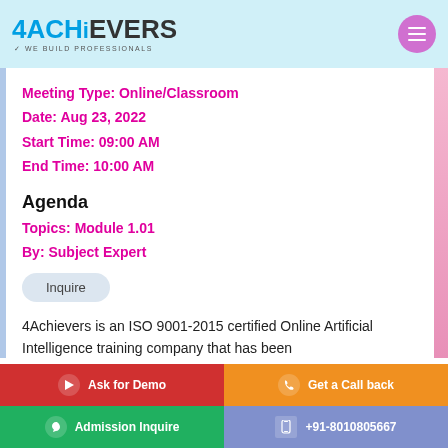4Achievers - We Build Professionals
Meeting Type: Online/Classroom
Date: Aug 23, 2022
Start Time: 09:00 AM
End Time: 10:00 AM
Agenda
Topics: Module 1.01
By: Subject Expert
Inquire
4Achievers is an ISO 9001-2015 certified Online Artificial Intelligence training company that has been
Ask for Demo | Get a Call back | Admission Inquire | +91-8010805667